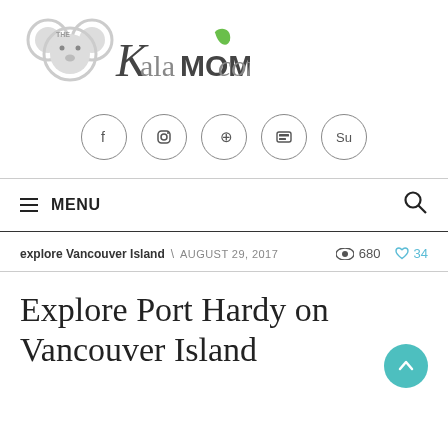[Figure (logo): The Koala MOM.com logo with koala ears graphic and green leaf accent]
[Figure (infographic): Row of 5 social media icon circles: Facebook, Instagram, Pinterest, YouTube, StumbleUpon]
≡ MENU
explore Vancouver Island \ AUGUST 29, 2017   👁 680   ♡ 34
Explore Port Hardy on Vancouver Island